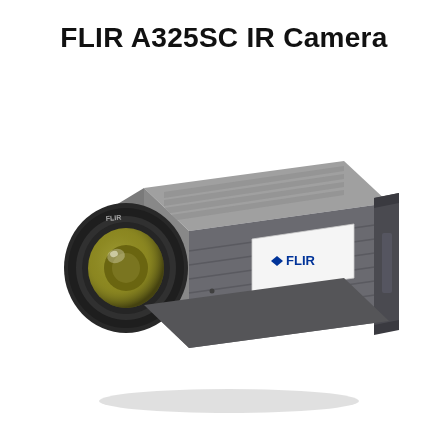FLIR A325SC IR Camera
[Figure (illustration): Photo of a FLIR A325SC infrared camera, shown in a 3/4 perspective view from the front-left. The camera is a compact rectangular box with a dark grey/charcoal body featuring ribbed texture on top and sides. On the front is a large circular lens assembly with a yellow-tinted IR lens element surrounded by a black housing. A white label panel on the side bears the FLIR logo in blue. A mounting bracket/handle is visible on the right side.]